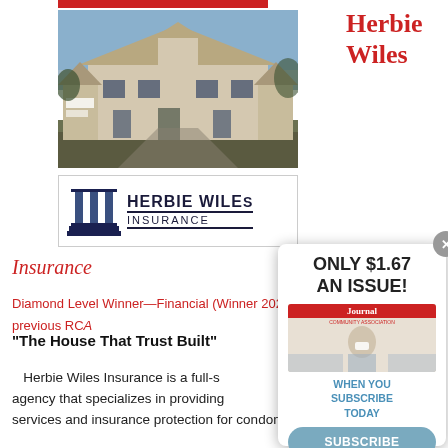Herbie Wiles
[Figure (photo): Exterior photo of Herbie Wiles Insurance building, a large Colonial-style white building with black shutters at dusk/twilight, with an insurance sign visible near the entrance]
[Figure (logo): Herbie Wiles Insurance logo with three-pillar column icon and company name text]
Insurance
Diamond Level Winner—Financial (Winner 2022 and one previous RCA
“The House That Trust Built”
Herbie Wiles Insurance is a full-s agency that specializes in providing services and insurance protection for condominiums,
[Figure (infographic): Subscription popup overlay showing: ONLY $1.67 AN ISSUE! with a magazine cover image (Community Association Journal), WHEN YOU SUBSCRIBE TODAY text, and a SUBSCRIBE button]
ONLY $1.67 AN ISSUE!
WHEN YOU SUBSCRIBE TODAY
SUBSCRIBE